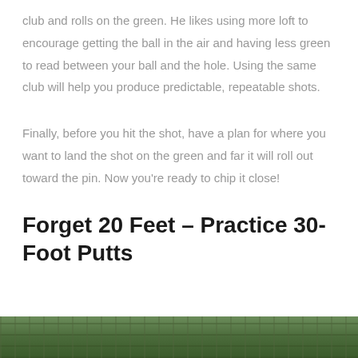club and rolls on the green. He likes using more loft to encourage getting the ball in the air and having less green to read between your ball and the hole. Using the same club will help you produce predictable, repeatable shots.
Finally, before you hit the shot, have a plan for where you want to land the shot on the green and far it will roll out toward the pin. Now you're ready to chip it close!
Forget 20 Feet – Practice 30-Foot Putts
[Figure (photo): Partial photo at bottom of page showing a golf green or outdoor scene with trees, cropped at the page edge]